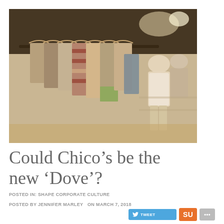[Figure (photo): Clothing rack with garments on wooden hangers in a retail store, with mannequins visible in the background]
Could Chico’s be the new ‘Dove’?
POSTED IN: SHAPE CORPORATE CULTURE
POSTED BY JENNIFER MARLEY   ON MARCH 7, 2018